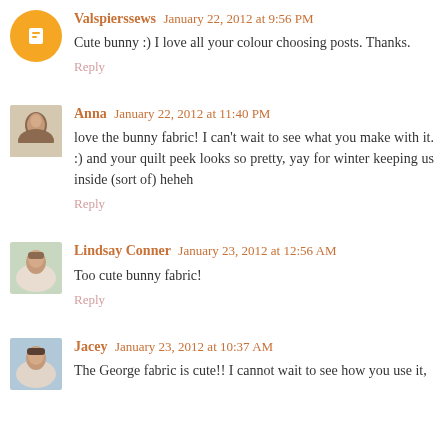Valspierssews January 22, 2012 at 9:56 PM
Cute bunny :) I love all your colour choosing posts. Thanks.
Reply
Anna January 22, 2012 at 11:40 PM
love the bunny fabric! I can't wait to see what you make with it. :) and your quilt peek looks so pretty, yay for winter keeping us inside (sort of) heheh
Reply
Lindsay Conner January 23, 2012 at 12:56 AM
Too cute bunny fabric!
Reply
Jacey January 23, 2012 at 10:37 AM
The George fabric is cute!! I cannot wait to see how you use it,